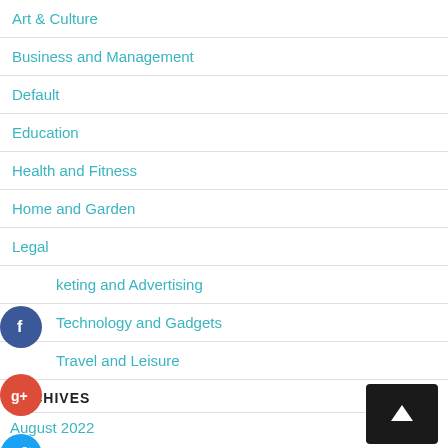Art & Culture
Business and Management
Default
Education
Health and Fitness
Home and Garden
Legal
Marketing and Advertising
Technology and Gadgets
Travel and Leisure
ARCHIVES
August 2022